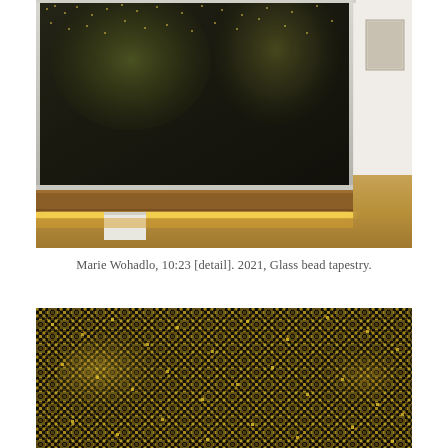[Figure (photo): Detail photograph of a large glass bead tapestry artwork mounted in a frame with warm amber LED lighting beneath it on a wooden floor in a gallery setting. The tapestry shows dark textured pattern with golden/green tones. A white rectangular block acts as a foot/stand.]
Marie Wohadlo, 10:23 [detail]. 2021, Glass bead tapestry.
[Figure (photo): Close-up macro photograph of the glass bead tapestry showing a detailed pattern of small black and gold/yellow beads woven together creating a pixelated mosaic-like texture with organic diamond/floral patterns.]